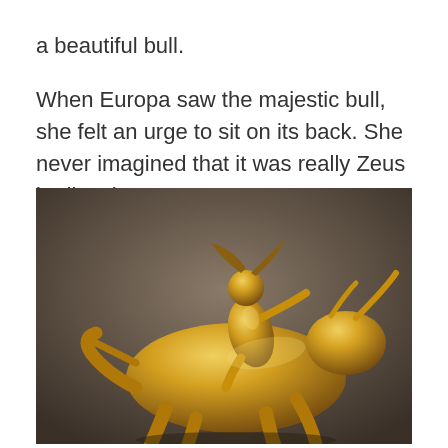a beautiful bull.
When Europa saw the majestic bull, she felt an urge to sit on its back. She never imagined that it was really Zeus in disguise.
[Figure (photo): A golden sculpture depicting Europa riding on the back of a bull (Zeus in disguise). The statue is made of gold and shows a female figure with flowing hair seated on a leaping bull, set against a dark background.]